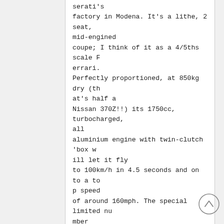serati's factory in Modena. It's a lithe, 2 seat, mid-engined coupe; I think of it as a 4/5ths scale Ferrari. Perfectly proportioned, at 850kg dry (that's half a Nissan 370Z!!) its 1750cc, turbocharged, all aluminium engine with twin-clutch 'box will let it fly to 100km/h in 4.5 seconds and on to a top speed of around 160mph. The special limited number Launch Edition's Interior is beautifully functional with really superb seats, a digital tft instrument panel, multi-function DAB entertainment unit, nononsense switches from the Giulietta, swathes of carbon fibre (carpeted, unlike a Lotus Elise ), with leather and aluminium just where you nee